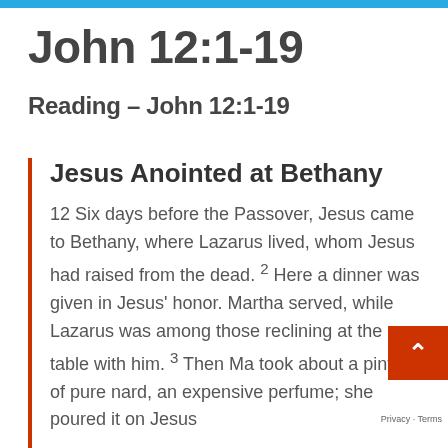John 12:1-19
Reading – John 12:1-19
Jesus Anointed at Bethany
12 Six days before the Passover, Jesus came to Bethany, where Lazarus lived, whom Jesus had raised from the dead. 2 Here a dinner was given in Jesus' honor. Martha served, while Lazarus was among those reclining at the table with him. 3 Then Ma took about a pint[a] of pure nard, an expensive perfume; she poured it on Jesus